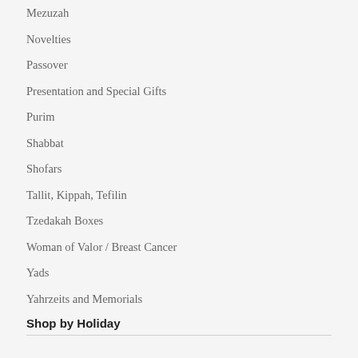Mezuzah
Novelties
Passover
Presentation and Special Gifts
Purim
Shabbat
Shofars
Tallit, Kippah, Tefilin
Tzedakah Boxes
Woman of Valor / Breast Cancer
Yads
Yahrzeits and Memorials
Shop by Holiday